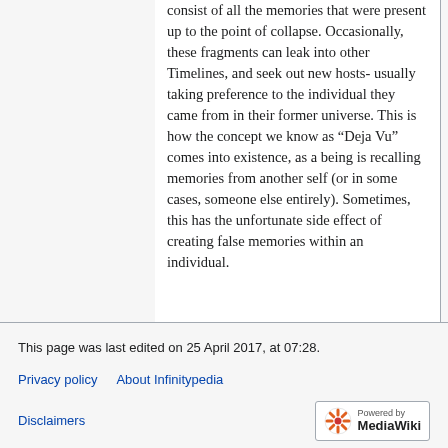consist of all the memories that were present up to the point of collapse. Occasionally, these fragments can leak into other Timelines, and seek out new hosts- usually taking preference to the individual they came from in their former universe. This is how the concept we know as “Deja Vu” comes into existence, as a being is recalling memories from another self (or in some cases, someone else entirely). Sometimes, this has the unfortunate side effect of creating false memories within an individual.
This page was last edited on 25 April 2017, at 07:28.
Privacy policy   About Infinitypedia
Disclaimers